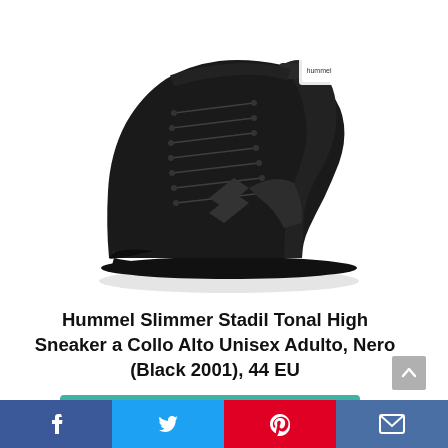[Figure (photo): Black Hummel Slimmer Stadil Tonal high-top sneaker, side view showing suede upper, laces, and chevron logo on a white background]
Hummel Slimmer Stadil Tonal High Sneaker a Collo Alto Unisex Adulto, Nero (Black 2001), 44 EU
Controlla il prezzo su Amazon
[Figure (infographic): Social sharing bar with Facebook, Twitter, Pinterest, and email buttons]